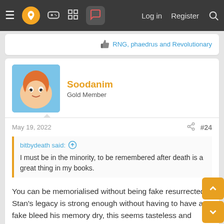Navigation bar with logo, game controller, grid, chat icons, Log in, Register, Search
RNG, phaedrus and Revolutionary
Soodanim
Gold Member
May 19, 2022  #24
bitbydeath said: ↑
I must be in the minority, to be remembered after death is a great thing in my books.
You can be memorialised without being fake resurrected. Stan's legacy is strong enough without having to have a fake bleed his memory dry, this seems tasteless and crass to me
Revolutionary